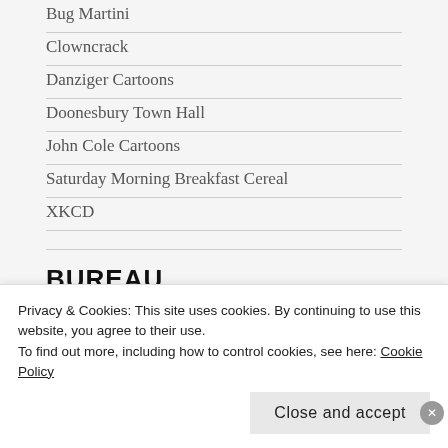Bug Martini
Clowncrack
Danziger Cartoons
Doonesbury Town Hall
John Cole Cartoons
Saturday Morning Breakfast Cereal
XKCD
BUREAU
Communism (dropdown)
Privacy & Cookies: This site uses cookies. By continuing to use this website, you agree to their use. To find out more, including how to control cookies, see here: Cookie Policy
Close and accept